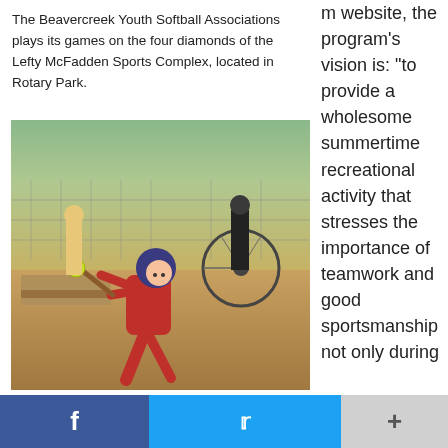The Beavercreek Youth Softball Associations plays its games on the four diamonds of the Lefty McFadden Sports Complex, located in Rotary Park.
[Figure (photo): A young child in a red uniform and blue helmet swinging a bat at a yellow softball at what appears to be a youth softball game. In the background are spectators, a bicycle, bleachers, and a chain-link fence.]
m website, the program's vision is: “to provide a wholesome summertime recreational activity that stresses the importance of teamwork and good sportsmanship not only during
[Figure (infographic): Social sharing bar with Facebook (blue), Twitter (light blue), and a plus button (grey)]